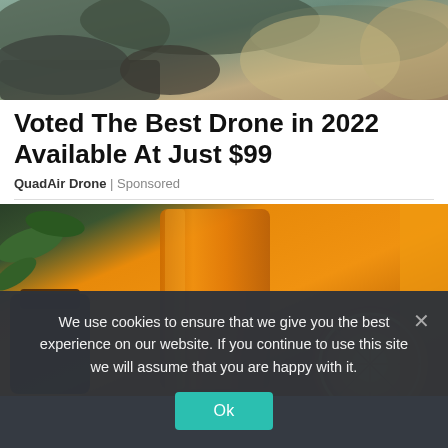[Figure (photo): Aerial or landscape photo showing rocky/mountainous terrain with muted green and brown tones, top portion of page]
Voted The Best Drone in 2022 Available At Just $99
QuadAir Drone | Sponsored
[Figure (photo): Close-up photo of an orange juice glass with orange slice and pineapple, warm orange and green tones]
We use cookies to ensure that we give you the best experience on our website. If you continue to use this site we will assume that you are happy with it.